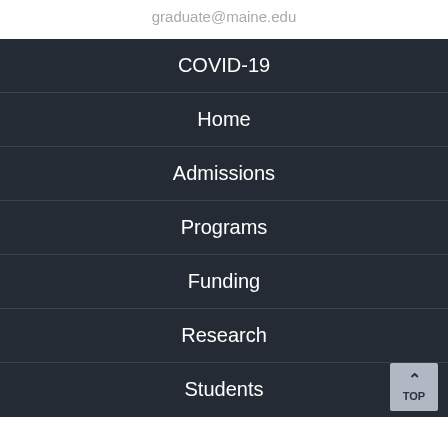graduate@maine.edu
COVID-19
Home
Admissions
Programs
Funding
Research
Students